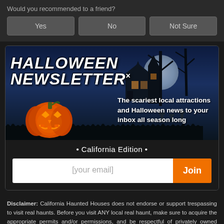Would you recommended to a friend?
| Yes | No | Not Sure |
[Figure (illustration): Halloween newsletter popup with jack-o-lantern pumpkin, haunted house, moon, grave crosses, dark blue night sky background. Title reads 'HALLOWEEN NEWSLETTER×' in bold italic white text. Description text: 'The scariest local attractions and Halloween news to your inbox all season long'. Below: '• California Edition •' with email input field '[your email]' and orange 'Join' button.]
Disclaimer: California Haunted Houses does not endorse or support trespassing to visit real haunts. Before you visit ANY local real haunt, make sure to acquire the appropriate permits and/or permissions, and be respectful of privately owned properties. Countless Haunt Hunters have been arrested, ticketed, and reprimanded by the authorities for trespassing,